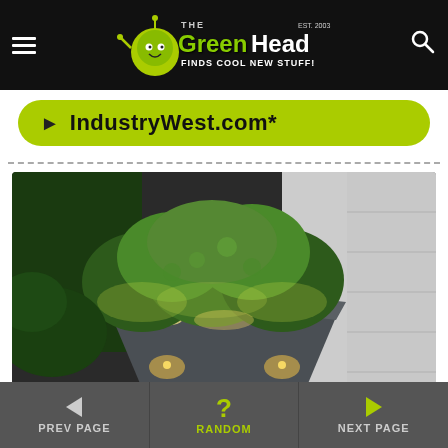The Green Head - Finds Cool New Stuff!
▶ IndustryWest.com*
[Figure (photo): A dark gray flower pot with built-in LED lights glowing at the base and rim, illuminating lush green shrubs planted inside, set outdoors against a white wall.]
◀ PREV PAGE   ? RANDOM   ▶ NEXT PAGE